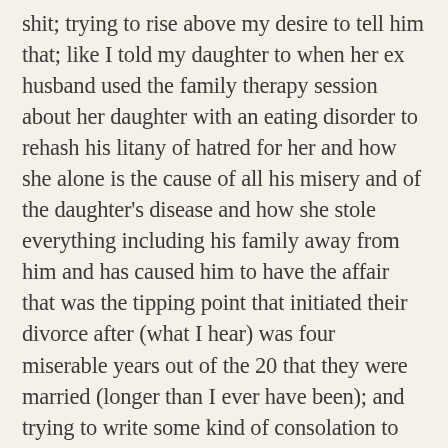shit; trying to rise above my desire to tell him that; like I told my daughter to when her ex husband used the family therapy session about her daughter with an eating disorder to rehash his litany of hatred for her and how she alone is the cause of all his misery and of the daughter's disease and how she stole everything including his family away from him and has caused him to have the affair that was the tipping point that initiated their divorce after (what I hear) was four miserable years out of the 20 that they were married (longer than I ever have been); and trying to write some kind of consolation to her when she said she was leaving, giving up on her daughter who said she wanted to live with her father and not go home to her mother's home after staying in treatment in Bellevue for four months and after starving herself for two years; then my boss who asked me to give her a few check boxes and some finite guidelines for supporting images that I need to use on our website